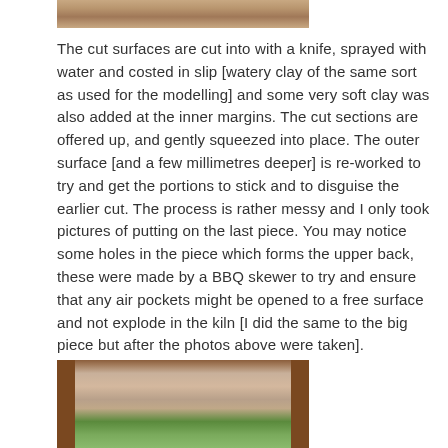[Figure (photo): Partial view of a clay sculpture photo, bottom portion visible]
The cut surfaces are cut into with a knife, sprayed with water and costed in slip [watery clay of the same sort as used for the modelling] and some very soft clay was also added at the inner margins.  The cut sections are offered up, and gently squeezed into place.  The outer surface [and a few millimetres deeper] is re-worked to try and get the portions to stick and to disguise the earlier cut.  The process is rather messy and I only took pictures of putting on the last piece.  You may notice some holes in the piece which forms the upper back, these were made by a BBQ skewer to try and ensure that any air pockets might be opened to a free surface and not explode in the kiln [I did the same to the big piece but after the photos above were taken].
[Figure (photo): Photo of clay sculpture upper back piece showing holes made by BBQ skewer, with wooden frame visible on sides and green foliage in background]